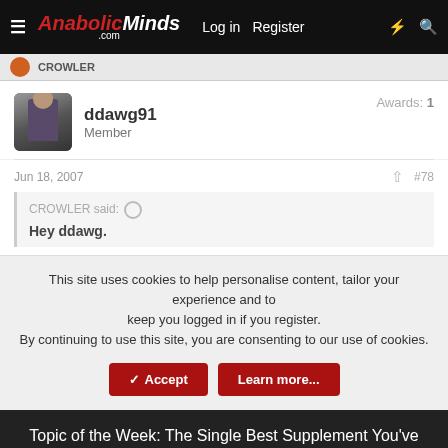AnabolicMinds.com — Log in  Register
ddawg91
Member
Awards: 1
Jun 18, 2007
#78
CROWLER said:
Hey ddawg.
This site uses cookies to help personalise content, tailor your experience and to keep you logged in if you register.
By continuing to use this site, you are consenting to our use of cookies.
Topic of the Week: The Single Best Supplement You've Taken